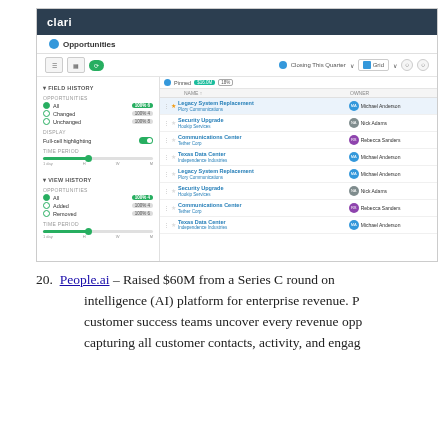[Figure (screenshot): Clari CRM application screenshot showing Opportunities panel with Field History and View History filters on the left, and a grid list of opportunities (Legacy System Replacement, Security Upgrade, Communications Center, Texas Data Center) with owners (Michael Anderson, Nick Adams, Rebecca Sanders) on the right.]
20. People.ai – Raised $60M from a Series C round on... intelligence (AI) platform for enterprise revenue. P... customer success teams uncover every revenue opp... capturing all customer contacts, activity, and engag...